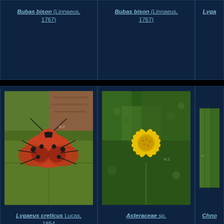[Figure (photo): Card with species name Bubas bison (Linnaeus, 1767), no photo visible, dark blue background]
Bubas bison (Linnaeus, 1767)
[Figure (photo): Card with species name Bubas bison (Linnaeus, 1767), no photo visible, dark blue background]
Bubas bison (Linnaeus, 1767)
[Figure (photo): Partial card with species name Lygaeus (truncated), dark blue background]
Lygae...
[Figure (photo): Photo of Lygaeus creticus Lucas, 1854 - a red and black bug (Hemiptera) on a green leaf]
Lygaeus creticus Lucas, 1854
[Figure (photo): Photo of Asteraceae sp. - a yellow daisy-like flower among green feathery foliage]
Asteraceae sp.
[Figure (photo): Partial photo card with species name Chno... (truncated), dark blue background]
Chno...
[Figure (photo): Bottom partial card row, first card, dark background with partial photo]
[Figure (photo): Bottom partial card row, second card, dark background with partial photo]
[Figure (photo): Bottom partial card row, third card, dark background]